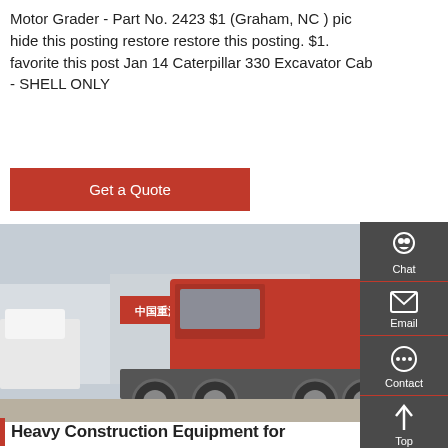Motor Grader - Part No. 2423 $1 (Graham, NC) pic hide this posting restore restore this posting. $1. favorite this post Jan 14 Caterpillar 330 Excavator Cab - SHELL ONLY
Get a Quote
[Figure (photo): A red Sinotruk heavy truck/tractor cab in a dealership yard with other white trucks and a Sinotruk dealership building in the background.]
Heavy Construction Equipment for